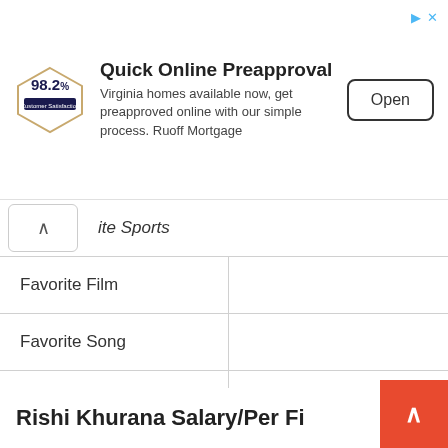[Figure (screenshot): Advertisement banner: 98.2% Customer Satisfaction logo, 'Quick Online Preapproval' heading, text 'Virginia homes available now, get preapproved online with our simple process. Ruoff Mortgage', and an 'Open' button.]
|  |  |
| --- | --- |
| Favorite Film |  |
| Favorite Song |  |
| Favorite Singer |  |
| Favorite Car |  |
| Favorite Bike |  |
Rishi Khurana Salary/Per Fi